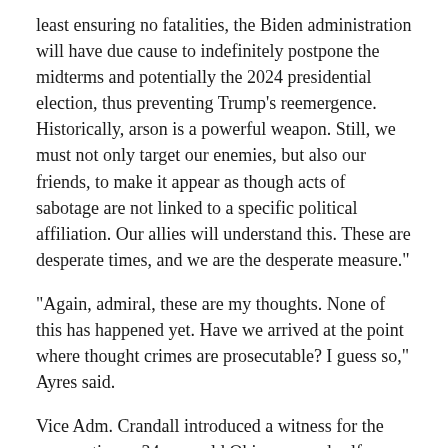least ensuring no fatalities, the Biden administration will have due cause to indefinitely postpone the midterms and potentially the 2024 presidential election, thus preventing Trump’s reemergence.  Historically, arson is a powerful weapon. Still, we must not only target our enemies, but also our friends, to make it appear as though acts of sabotage are not linked to a specific political affiliation. Our allies will understand this. These are desperate times, and we are the desperate measure.”
“Again, admiral, these are my thoughts. None of this has happened yet. Have we arrived at the point where thought crimes are prosecutable? I guess so,” Ayres said.
Vice Adm. Crandall introduced a witness for the prosecution, a 34-year-old Ohio man and self-admitted liberal who claimed he was approached by Ayres in February 2021 with a financially lucrative offer. This person, who RRN has been asked not to name, is a Twitter-verified